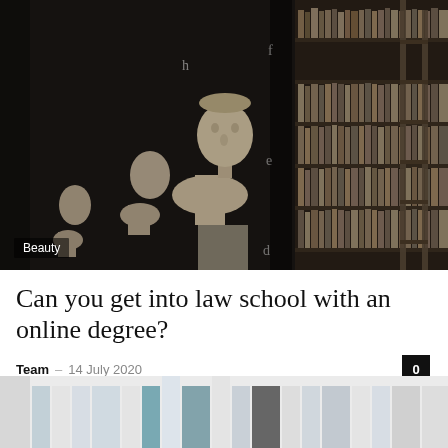[Figure (photo): Dark library interior with rows of old books on tall shelves and classical marble busts on pedestals in the foreground. A wooden ladder leans against the bookshelf. Letters h, f, e, d, c are visible on dark columns.]
Beauty
Can you get into law school with an online degree?
Team · 14 July 2020
[Figure (photo): Partial view of a modern interior space with blurred shelves and objects, showing light colors and teal/blue elements.]